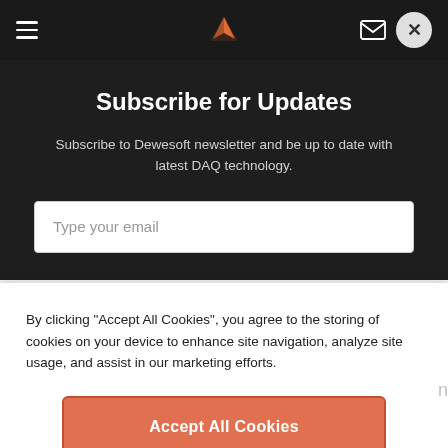Dewesoft navigation bar with hamburger menu, logo, mail icon, and close button
Subscribe for Updates
Subscribe to Dewesoft newsletter and be up to date with latest DAQ technology.
Type your email
By clicking "Accept All Cookies", you agree to the storing of cookies on your device to enhance site navigation, analyze site usage, and assist in our marketing efforts.
Accept All Cookies
Cookies Settings